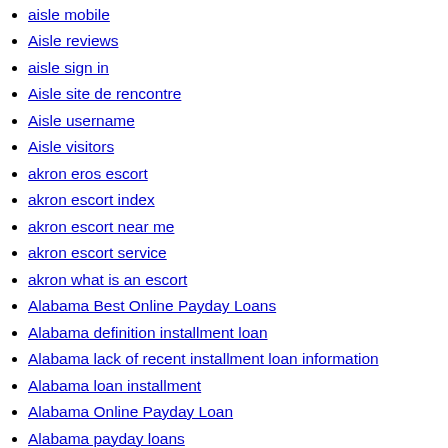aisle mobile
Aisle reviews
aisle sign in
Aisle site de rencontre
Aisle username
Aisle visitors
akron eros escort
akron escort index
akron escort near me
akron escort service
akron what is an escort
Alabama Best Online Payday Loans
Alabama definition installment loan
Alabama lack of recent installment loan information
Alabama loan installment
Alabama Online Payday Loan
Alabama payday loans
alabama review
Alabama tennessee title loans
Alaska Best Online Payday Loans
Alaska definition installment loan
Alaska installment loan definition
Alaska payday loans
Alaska payday loans online